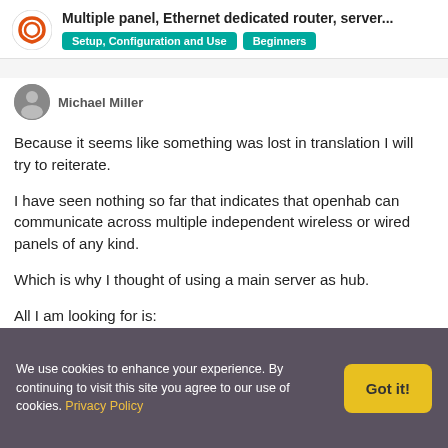Multiple panel, Ethernet dedicated router, server...
Michael Miller
Because it seems like something was lost in translation I will try to reiterate.

I have seen nothing so far that indicates that openhab can communicate across multiple independent wireless or wired panels of any kind.

Which is why I thought of using a main server as hub.

All I am looking for is:
Can it work, if so what are my limitations.
We use cookies to enhance your experience. By continuing to visit this site you agree to our use of cookies. Privacy Policy